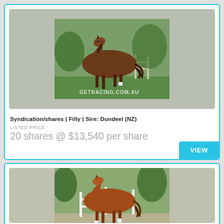[Figure (photo): Bay horse standing in profile on green grass, GetRacing.com.au watermark]
Syndication/shares | Filly | Sire: Dundeel (NZ)
LISTED PRICE
20 shares @ $13,540 per share
VIEW
[Figure (photo): Chestnut horse standing in profile on a paved area, GetRacing.com.au watermark]